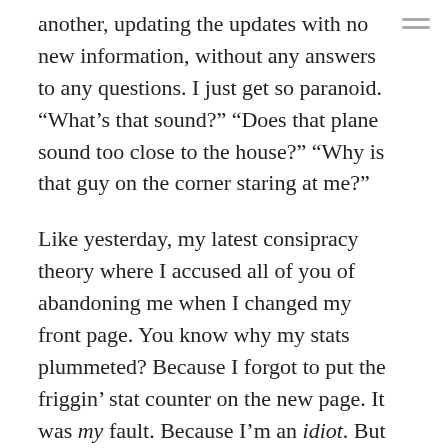another, updating the updates with no new information, without any answers to any questions. I just get so paranoid. “What’s that sound?” “Does that plane sound too close to the house?” “Why is that guy on the corner staring at me?”
Like yesterday, my latest consipracy theory where I accused all of you of abandoning me when I changed my front page. You know why my stats plummeted? Because I forgot to put the friggin’ stat counter on the new page. It was my fault. Because I’m an idiot. But I’m so quick to make the hysterical assumption, so willing to think it’s all over, it’s all crashing down, everything’s so horrible, that I don’t stop for a second and think rationally. I don’t allow logic or reason to get a